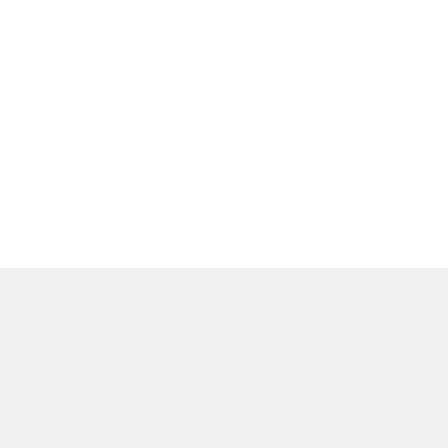“Fauci Unmasked” offers a comprehensive accounting of Dr. Fauci’s successive lies and failures the media refused to cover. As the Director of the National Institute of Allergy and Infectious Diseases, Dr. Fauci has: